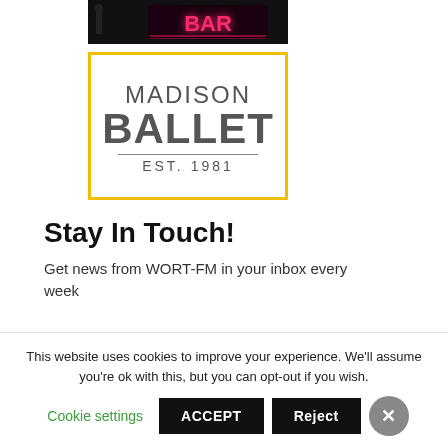[Figure (photo): Dark background image with neon 'BAR' sign text in pink/red neon lighting]
[Figure (logo): Madison Ballet EST. 1981 logo with yellow border, grey text]
Stay In Touch!
Get news from WORT-FM in your inbox every week
This website uses cookies to improve your experience. We'll assume you're ok with this, but you can opt-out if you wish.
Cookie settings  ACCEPT  Reject